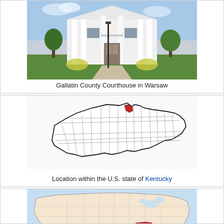[Figure (photo): Photograph of Gallatin County Courthouse in Warsaw, Kentucky — a white neoclassical building with columns and a central entrance, surrounded by trees and grass]
Gallatin County Courthouse in Warsaw
[Figure (map): Map of Kentucky counties with Gallatin County highlighted in red in the northern part of the state]
Location within the U.S. state of Kentucky
[Figure (map): Map of the United States with Kentucky highlighted in red, showing location of the state within the contiguous US]